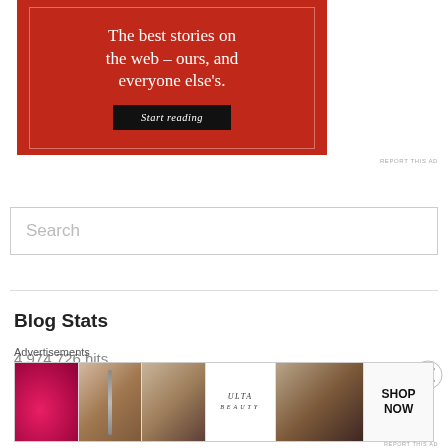[Figure (illustration): Red advertisement banner with white text reading 'The best stories on the web – ours, and everyone else's.' with a 'Start reading' button on dark background]
REPORT THIS AD
[Figure (screenshot): Search input box with placeholder text 'Search']
Blog Stats
4,974,726 hits
Advertisements
[Figure (illustration): Bottom advertisement banner for Ulta Beauty showing cosmetic product imagery with 'SHOP NOW' text]